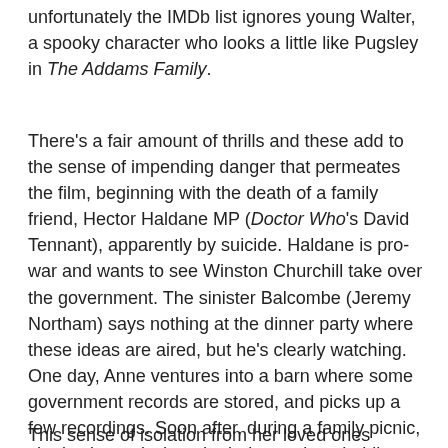unfortunately the IMDb list ignores young Walter, a spooky character who looks a little like Pugsley in The Addams Family.
There's a fair amount of thrills and these add to the sense of impending danger that permeates the film, beginning with the death of a family friend, Hector Haldane MP (Doctor Who's David Tennant), apparently by suicide. Haldane is pro-war and wants to see Winston Churchill take over the government. The sinister Balcombe (Jeremy Northam) says nothing at the dinner party where these ideas are aired, but he's clearly watching. One day, Anne ventures into a barn where some government records are stored, and picks up a few recordings. Soon after, during a family picnic, she is alarmed when the baby carriage holding her baby brother disappears. Feeling responsible since the rest of the group had gone for a post-prandial walk, she is relieved to find the child at last. But her credibilty is compromised; noone else in the family believes her when she says the carriage just disappeared.
This sense of isolation from her loved ones escalates. She